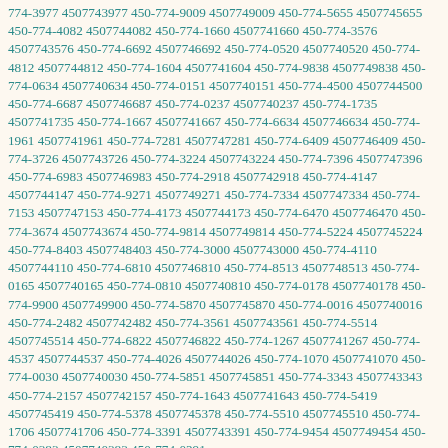774-3977 4507743977 450-774-9009 4507749009 450-774-5655 4507745655 450-774-4082 4507744082 450-774-1660 4507741660 450-774-3576 4507743576 450-774-6692 4507746692 450-774-0520 4507740520 450-774-4812 4507744812 450-774-1604 4507741604 450-774-9838 4507749838 450-774-0634 4507740634 450-774-0151 4507740151 450-774-4500 4507744500 450-774-6687 4507746687 450-774-0237 4507740237 450-774-1735 4507741735 450-774-1667 4507741667 450-774-6634 4507746634 450-774-1961 4507741961 450-774-7281 4507747281 450-774-6409 4507746409 450-774-3726 4507743726 450-774-3224 4507743224 450-774-7396 4507747396 450-774-6983 4507746983 450-774-2918 4507742918 450-774-4147 4507744147 450-774-9271 4507749271 450-774-7334 4507747334 450-774-7153 4507747153 450-774-4173 4507744173 450-774-6470 4507746470 450-774-3674 4507743674 450-774-9814 4507749814 450-774-5224 4507745224 450-774-8403 4507748403 450-774-3000 4507743000 450-774-4110 4507744110 450-774-6810 4507746810 450-774-8513 4507748513 450-774-0165 4507740165 450-774-0810 4507740810 450-774-0178 4507740178 450-774-9900 4507749900 450-774-5870 4507745870 450-774-0016 4507740016 450-774-2482 4507742482 450-774-3561 4507743561 450-774-5514 4507745514 450-774-6822 4507746822 450-774-1267 4507741267 450-774-4537 4507744537 450-774-4026 4507744026 450-774-1070 4507741070 450-774-0030 4507740030 450-774-5851 4507745851 450-774-3343 4507743343 450-774-2157 4507742157 450-774-1643 4507741643 450-774-5419 4507745419 450-774-5378 4507745378 450-774-5510 4507745510 450-774-1706 4507741706 450-774-3391 4507743391 450-774-9454 4507749454 450-774-0383 4507740383 450-774-0291